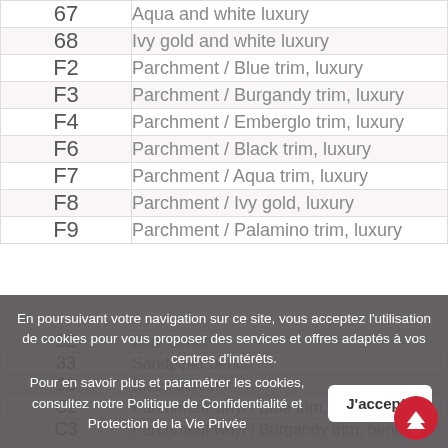| Code | Description |
| --- | --- |
| 67 | Aqua and white luxury |
| 68 | Ivy gold and white luxury |
| F2 | Parchment / Blue trim, luxury |
| F3 | Parchment / Burgandy trim, luxury |
| F4 | Parchment / Emberglo trim, luxury |
| F6 | Parchment / Black trim, luxury |
| F7 | Parchment / Aqua trim, luxury |
| F8 | Parchment / Ivy gold, luxury |
| F9 | Parchment / Palamino trim, luxury |
| 32 | Blue bench |
| 33 | Sandpiper bench |
| 36 | Black bench |
| C2 | Parchment vinyl / Blue trim, bench |
| C3 | Parchment vinyl / Burgandy trim, bench |
En poursuivant votre navigation sur ce site, vous acceptez l'utilisation de cookies pour vous proposer des services et offres adaptés à vos centres d'intérêts. Pour en savoir plus et paramétrer les cookies, consultez notre Politique de Confidentialité et Protection de la Vie Privée